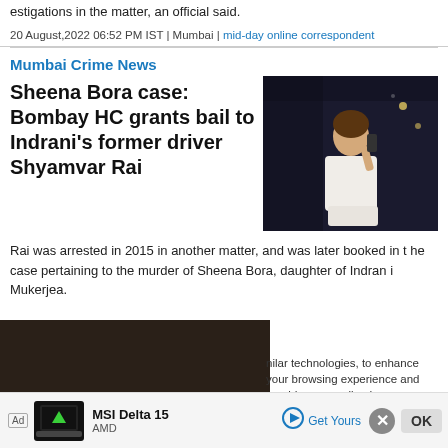estigations in the matter, an official said.
20 August,2022 06:52 PM IST | Mumbai | mid-day online correspondent
Mumbai Crime News
Sheena Bora case: Bombay HC grants bail to Indrani's former driver Shyamvar Rai
[Figure (photo): A woman in white clothing talking on a phone, photographed at night]
Rai was arrested in 2015 in another matter, and was later booked in the case pertaining to the murder of Sheena Bora, daughter of Indrani Mukerjea.
[Figure (photo): A toppled or damaged statue on the ground with debris and wires]
nilar technologies, to enhance your browsing experience and provide personalised recommendations. By
contin... y and...
Ad | MSI Delta 15 | AMD | Get Yours